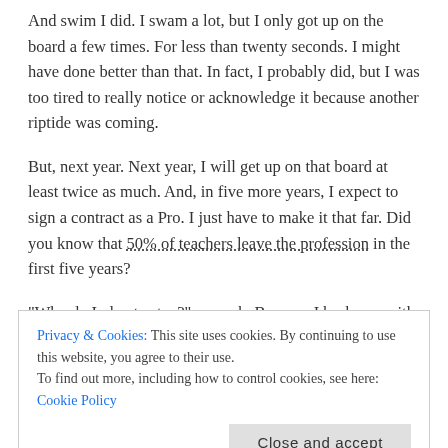And swim I did. I swam a lot, but I only got up on the board a few times. For less than twenty seconds. I might have done better than that. In fact, I probably did, but I was too tired to really notice or acknowledge it because another riptide was coming.
But, next year. Next year, I will get up on that board at least twice as much. And, in five more years, I expect to sign a contract as a Pro. I just have to make it that far. Did you know that 50% of teachers leave the profession in the first five years?
"Why do I plan to stay?" you ask. Because I broke up with Travis Parker before I ever learned how to really surf. And, I always wonder what could have been. With the surfing, not with Travis. {Hi Travis!! I still love you, but, you know, as well, as I do, that we weren't meant to
Privacy & Cookies: This site uses cookies. By continuing to use this website, you agree to their use.
To find out more, including how to control cookies, see here: Cookie Policy
to scream long because the tide would pull me back out. After what